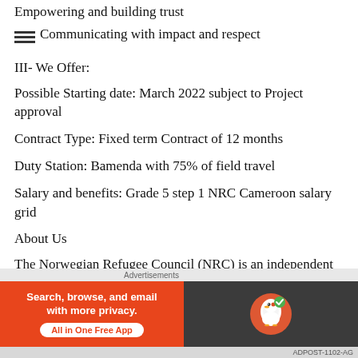Empowering and building trust
Communicating with impact and respect
III- We Offer:
Possible Starting date: March 2022 subject to Project approval
Contract Type: Fixed term Contract of 12 months
Duty Station: Bamenda with 75% of field travel
Salary and benefits: Grade 5 step 1 NRC Cameroon salary grid
About Us
The Norwegian Refugee Council (NRC) is an independent humanitarian organisation helping
Advertisements
[Figure (other): DuckDuckGo advertisement banner: Search, browse, and email with more privacy. All in One Free App. DuckDuckGo logo on dark background.]